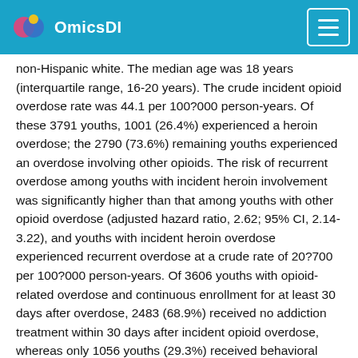OmicsDI
non-Hispanic white. The median age was 18 years (interquartile range, 16-20 years). The crude incident opioid overdose rate was 44.1 per 100?000 person-years. Of these 3791 youths, 1001 (26.4%) experienced a heroin overdose; the 2790 (73.6%) remaining youths experienced an overdose involving other opioids. The risk of recurrent overdose among youths with incident heroin involvement was significantly higher than that among youths with other opioid overdose (adjusted hazard ratio, 2.62; 95% CI, 2.14-3.22), and youths with incident heroin overdose experienced recurrent overdose at a crude rate of 20?700 per 100?000 person-years. Of 3606 youths with opioid-related overdose and continuous enrollment for at least 30 days after overdose, 2483 (68.9%) received no addiction treatment within 30 days after incident opioid overdose, whereas only 1056 youths (29.3%) received behavioral health services alone, and 67 youths (1.9%) received pharmacotherapy. Youths with heroin overdose were significantly less likely than youths with other opioid overdose to receive any treatment after their overdose (adjusted odds